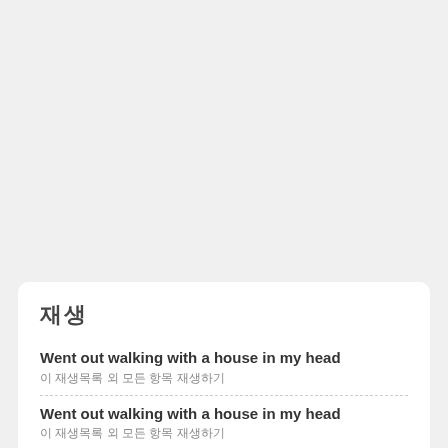재생
Went out walking with a house in my head
이 재생목록 외 모든 항목 재생하기
Went out walking with a house in my head
이 재생목록 외 모든 항목 재생하기